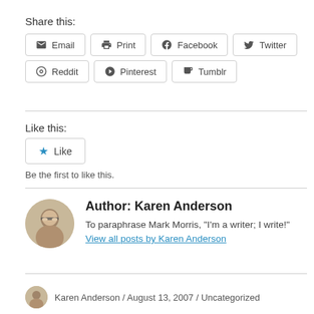Share this:
Email
Print
Facebook
Twitter
Reddit
Pinterest
Tumblr
Like this:
Like
Be the first to like this.
Author: Karen Anderson
To paraphrase Mark Morris, "I'm a writer; I write!" View all posts by Karen Anderson
Karen Anderson / August 13, 2007 / Uncategorized